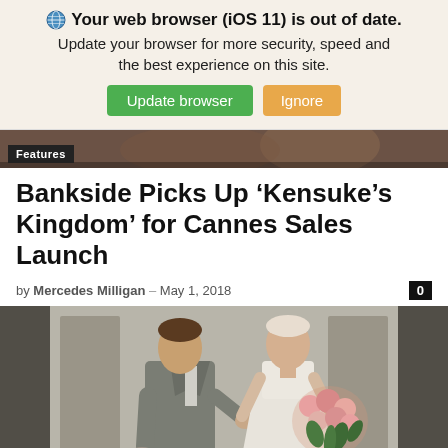Your web browser (iOS 11) is out of date. Update your browser for more security, speed and the best experience on this site. [Update browser] [Ignore]
[Figure (screenshot): Top partial image strip showing a dark brownish background with a 'Features' label in the lower left corner]
Bankside Picks Up ‘Kensuke’s Kingdom’ for Cannes Sales Launch
by Mercedes Milligan – May 1, 2018   0
[Figure (illustration): Animated illustration showing a couple standing together — a man in a grey suit holding a hat and a woman in a white dress holding a pink floral bouquet. 'Features' label visible at the bottom left.]